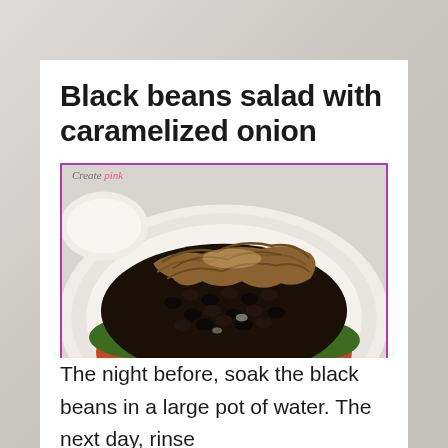Black beans salad with caramelized onion
[Figure (photo): A white oval plate with black bean salad topped with caramelized onions, garnished with fresh parsley and diced tomatoes. The dish is presented on a white surface.]
The night before, soak the black beans in a large pot of water. The next day, rinse